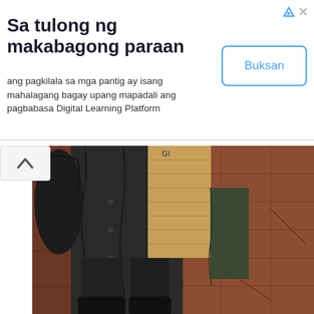Sa tulong ng makabagong paraan
ang pagkilala sa mga pantig ay isang mahalagang bagay upang mapadali ang pagbabasa Digital Learning Platform
[Figure (photo): Person standing on brick/stone pavement, wearing dark clothing and carrying a brown cardboard sign and a bag. Lower body visible only.]